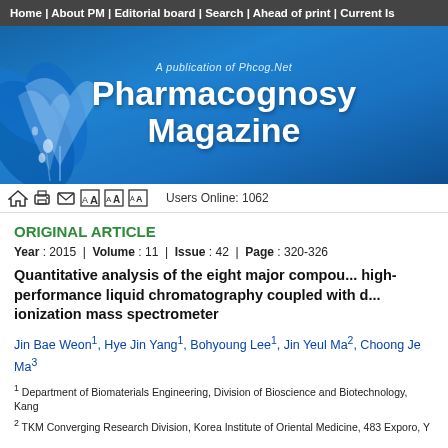Home | About PM | Editorial board | Search | Ahead of print | Current Is
[Figure (illustration): Pharmacognosy Magazine banner with blue floral decoration and text 'A publication of Phcog.Net' and 'Pharmacognosy Magazine']
Users Online: 1062
ORIGINAL ARTICLE
Year : 2015 | Volume : 11 | Issue : 42 | Page : 320-326
Quantitative analysis of the eight major compounds by high-performance liquid chromatography coupled with diode array ionization mass spectrometer
Jin Bae Weon1, Hye Jin Yang1, Bohyoung Lee1, Jin Yeul Ma2, Choong Je Ma3
1 Department of Biomaterials Engineering, Division of Bioscience and Biotechnology, Kang
2 TKM Converging Research Division, Korea Institute of Oriental Medicine, 483 Exporo, Y